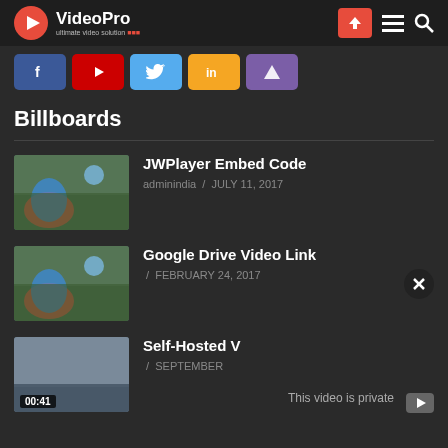VideoPro - ultimate video solution
[Figure (screenshot): Social media share buttons: Facebook, YouTube, Twitter, Instagram/Imgur, and another purple platform]
Billboards
JWPlayer Embed Code — adminindia / JULY 11, 2017
Google Drive Video Link — / FEBRUARY 24, 2017
Self-Hosted V — / SEPTEMBER — This video is private — 00:41